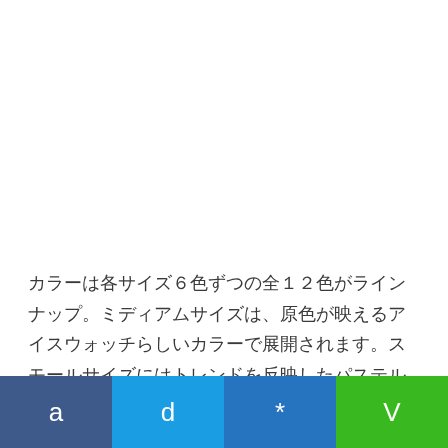カラーは各サイズ6色ずつの全12色がラインナップ。ミディアムサイズは、原色が映えるアイスウォッチらしいカラーで展開されます。スモールサイズにはトレンドを反映したパステルカラーが揃い、バリエーション豊かなコレクションとなっています。
[Figure (other): Footer bar with four colored segments: navy, cyan/blue, dark blue, and green, each containing a single character: a, d, *, V]